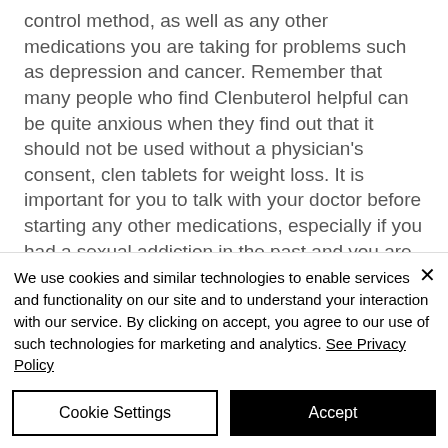control method, as well as any other medications you are taking for problems such as depression and cancer. Remember that many people who find Clenbuterol helpful can be quite anxious when they find out that it should not be used without a physician's consent, clen tablets for weight loss. It is important for you to talk with your doctor before starting any other medications, especially if you had a sexual addiction in the past and you are still suffering from it. If you use Clenbuterol, you should continue to...
We use cookies and similar technologies to enable services and functionality on our site and to understand your interaction with our service. By clicking on accept, you agree to our use of such technologies for marketing and analytics. See Privacy Policy